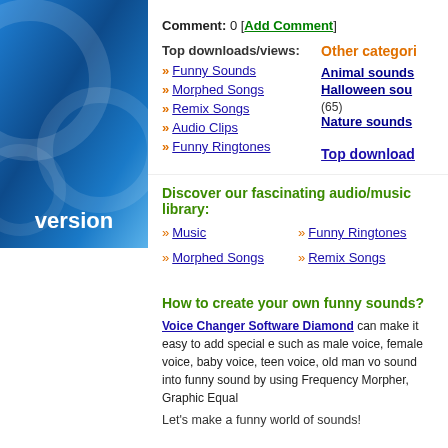[Figure (illustration): Blue gradient panel with circles and 'version' text in white]
Comment:  0 [Add Comment]
Top downloads/views:
Other categories
Funny Sounds
Animal sounds
Morphed Songs
Halloween sounds (65)
Remix Songs
Nature sounds
Audio Clips
Top downloads
Funny Ringtones
Discover our fascinating audio/music library:
Music
Funny Ringtones
Morphed Songs
Remix Songs
How to create your own funny sounds?
Voice Changer Software Diamond can make it easy to add special effects such as male voice, female voice, baby voice, teen voice, old man voice, sound into funny sound by using Frequency Morpher, Graphic Equalizer
Let's make a funny world of sounds!